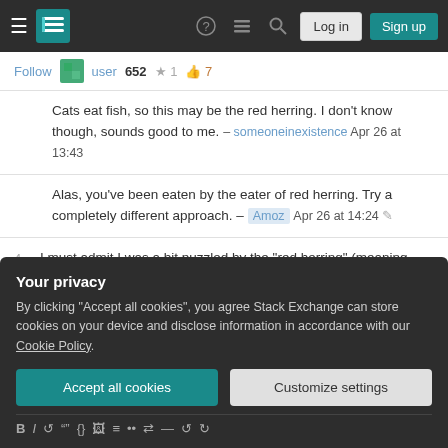Stack Exchange navigation bar with Log in and Sign up buttons
Follow | user 652 ★1 👍7
Cats eat fish, so this may be the red herring. I don't know though, sounds good to me. – someoneinexistence Apr 26 at 13:43
Alas, you've been eaten by the eater of red herring. Try a completely different approach. – Amoz Apr 26 at 14:24 ✏
4  I must admit I was a bit puzzled by the "red herring" (meaning wrong problem/wrong solution) ;) Well done for making a problem with 2 solutions! – franck vivien Apr 26 at 14:58
Your privacy
By clicking "Accept all cookies", you agree Stack Exchange can store cookies on your device and disclose information in accordance with our Cookie Policy.
[Accept all cookies] [Customize settings]